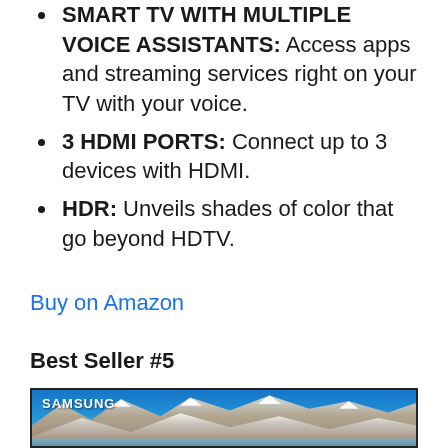SMART TV WITH MULTIPLE VOICE ASSISTANTS: Access apps and streaming services right on your TV with your voice.
3 HDMI PORTS: Connect up to 3 devices with HDMI.
HDR: Unveils shades of color that go beyond HDTV.
Buy on Amazon
Best Seller #5
[Figure (photo): Samsung TV displaying a scenic mountain landscape with snow-capped peaks and blue sky, Samsung logo visible in upper left corner of screen.]